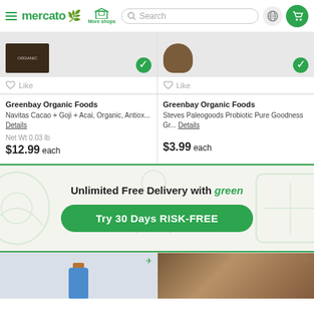mercato — More shops — Search — navigation bar
[Figure (screenshot): Product image area left: dark chocolate bar product with add button]
Like
[Figure (screenshot): Product image area right: brown jar product with add button]
Like
Greenbay Organic Foods
Navitas Cacao + Goji + Acai, Organic, Antiox... Details
Net Wt 0.03 lb
$12.99 each
Greenbay Organic Foods
Steves Paleogoods Probiotic Pure Goodness Gr... Details
$3.99 each
[Figure (infographic): Unlimited Free Delivery with green banner with Try 30 Days RISK-FREE button and decorative food illustrations]
[Figure (photo): Bottom left: blue bottle product with airplane icon]
[Figure (photo): Bottom right: granola/food photo with airplane icon]